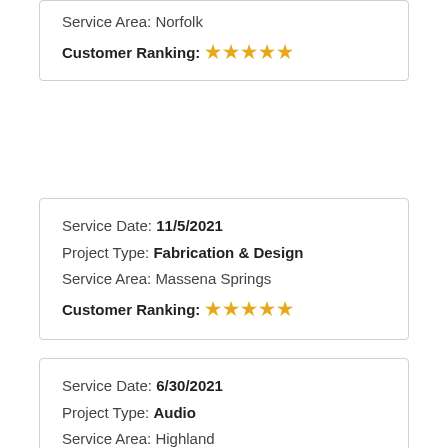Service Area: Norfolk
Customer Ranking: ★★★★★
Service Date: 11/5/2021
Project Type: Fabrication & Design
Service Area: Massena Springs
Customer Ranking: ★★★★★
Service Date: 6/30/2021
Project Type: Audio
Service Area: Highland
Customer Ranking: ★★★★★